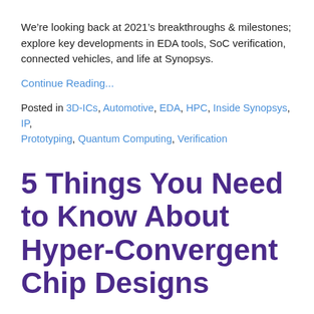We’re looking back at 2021’s breakthroughs & milestones; explore key developments in EDA tools, SoC verification, connected vehicles, and life at Synopsys.
Continue Reading...
Posted in 3D-ICs, Automotive, EDA, HPC, Inside Synopsys, IP, Prototyping, Quantum Computing, Verification
5 Things You Need to Know About Hyper-Convergent Chip Designs
Explore the latest on hyper-convergent chip designs, IC